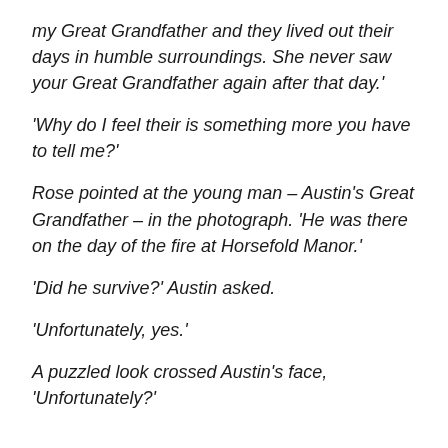my Great Grandfather and they lived out their days in humble surroundings. She never saw your Great Grandfather again after that day.'
'Why do I feel their is something more you have to tell me?'
Rose pointed at the young man – Austin's Great Grandfather – in the photograph. 'He was there on the day of the fire at Horsefold Manor.'
'Did he survive?' Austin asked.
'Unfortunately, yes.'
A puzzled look crossed Austin's face, 'Unfortunately?'